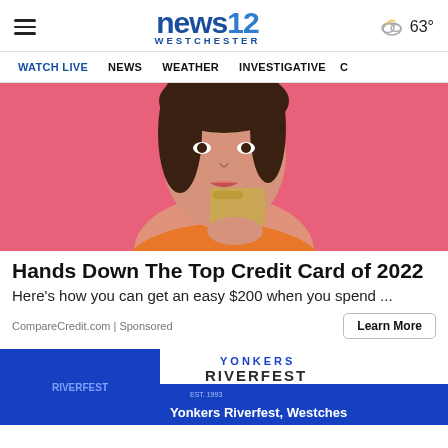news12 WESTCHESTER | 63°
WATCH LIVE  NEWS  WEATHER  INVESTIGATIVE  C…
[Figure (photo): Young woman with dark hair holding a gold credit card against a pink background, partial view]
Hands Down The Top Credit Card of 2022
Here's how you can get an easy $200 when you spend ...
CompareCredit.com | Sponsored
[Figure (photo): Yonkers Riverfest advertisement banner with blue and white design, text: Yonkers Riverfest, Westches…]